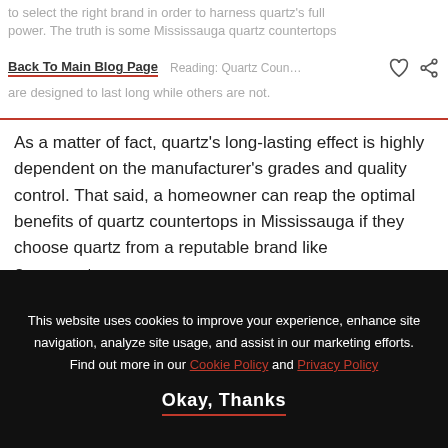to select the right brand in order to harness quartz's full power. The truth is some Mississauga quartz countertops are designed to last long while others are not.
Back To Main Blog Page | Reading: Quartz Countertops
As a matter of fact, quartz's long-lasting effect is highly dependent on the manufacturer's grades and quality control. That said, a homeowner can reap the optimal benefits of quartz countertops in Mississauga if they choose quartz from a reputable brand like Caesarstone.
[Figure (photo): Interior photo showing plants, framed artwork, and a pendant light in a kitchen or living space]
This website uses cookies to improve your experience, enhance site navigation, analyze site usage, and assist in our marketing efforts. Find out more in our Cookie Policy and Privacy Policy
Okay, Thanks